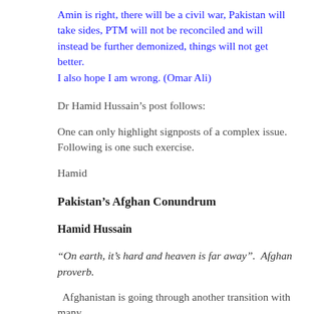Amin is right, there will be a civil war, Pakistan will take sides, PTM will not be reconciled and will instead be further demonized, things will not get better.
I also hope I am wrong. (Omar Ali)
Dr Hamid Hussain’s post follows:
One can only highlight signposts of a complex issue. Following is one such exercise.
Hamid
Pakistan’s Afghan Conundrum
Hamid Hussain
“On earth, it’s hard and heaven is far away”.  Afghan proverb.
Afghanistan is going through another transition with many